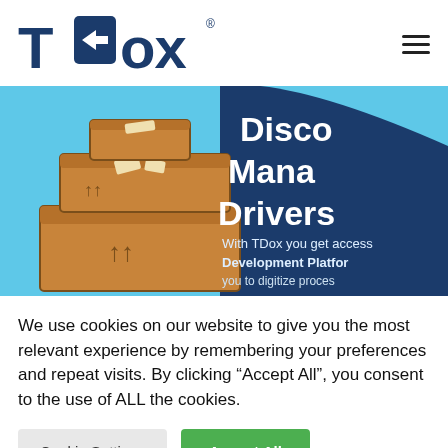[Figure (logo): TDox logo with dark blue stylized T and DOX text]
[Figure (illustration): Banner image showing stacked cardboard boxes illustration on blue/teal background with partial text: Disco, Mana, Drivers, With TDox you get access, Development Platform, you to digitize proces]
We use cookies on our website to give you the most relevant experience by remembering your preferences and repeat visits. By clicking “Accept All”, you consent to the use of ALL the cookies.
Cookie Settings
Accept All